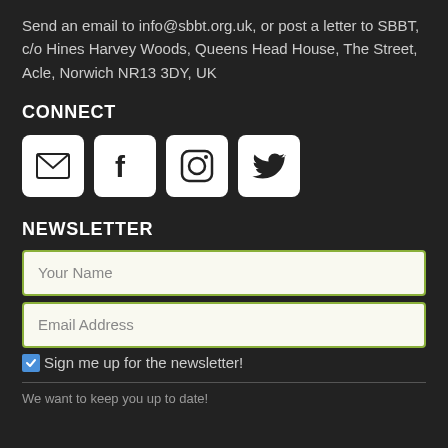Send an email to info@sbbt.org.uk, or post a letter to SBBT, c/o Hines Harvey Woods, Queens Head House, The Street, Acle, Norwich NR13 3DY, UK
CONNECT
[Figure (infographic): Four social media icon buttons in white rounded square boxes: email envelope, Facebook f, Instagram camera, Twitter bird]
NEWSLETTER
[Figure (infographic): Newsletter sign-up form with Your Name input field, Email Address input field, and a checked blue checkbox with 'Sign me up for the newsletter!' label]
We want to keep you up to date!